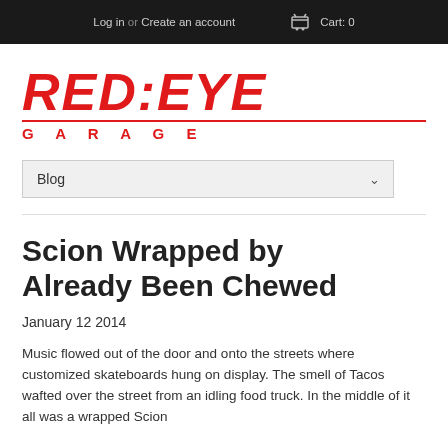Log in or Create an account   Cart: 0
[Figure (logo): Red:Eye Garage logo in red italic bold text with 'GARAGE' in spaced letters below a red underline]
Blog
Scion Wrapped by Already Been Chewed
January 12 2014
Music flowed out of the door and onto the streets where customized skateboards hung on display. The smell of Tacos wafted over the street from an idling food truck. In the middle of it all was a wrapped Scion